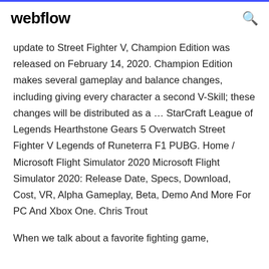webflow
update to Street Fighter V, Champion Edition was released on February 14, 2020. Champion Edition makes several gameplay and balance changes, including giving every character a second V-Skill; these changes will be distributed as a … StarCraft League of Legends Hearthstone Gears 5 Overwatch Street Fighter V Legends of Runeterra F1 PUBG. Home / Microsoft Flight Simulator 2020 Microsoft Flight Simulator 2020: Release Date, Specs, Download, Cost, VR, Alpha Gameplay, Beta, Demo And More For PC And Xbox One. Chris Trout
When we talk about a favorite fighting game,